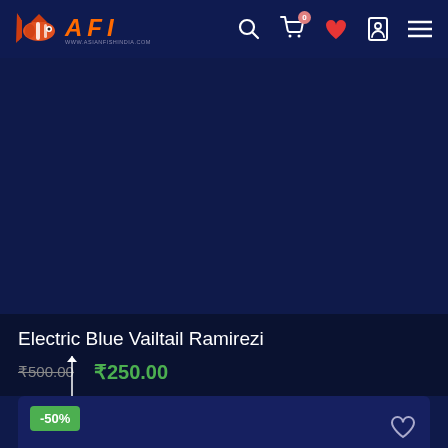[Figure (screenshot): AFI (Asian Fish India) e-commerce website header with navigation bar showing logo with clownfish, search icon, cart icon with badge '0', heart/wishlist icon, profile icon, and hamburger menu icon]
[Figure (photo): Dark navy blue product image area for Electric Blue Vailtail Ramirezi fish product]
Electric Blue Vailtail Ramirezi
₹500.00  ₹250.00
-50%